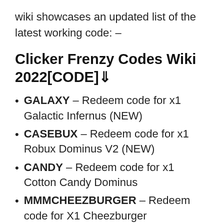wiki showcases an updated list of the latest working code: –
Clicker Frenzy Codes Wiki 2022[CODE]⇓
GALAXY – Redeem code for x1 Galactic Infernus (NEW)
CASEBUX – Redeem code for x1 Robux Dominus V2 (NEW)
CANDY – Redeem code for x1 Cotton Candy Dominus
MMMCHEEZBURGER – Redeem code for X1 Cheezburger
CYAN – Redeem code for X1 Cyan